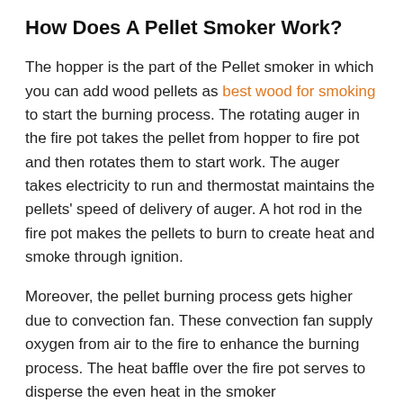How Does A Pellet Smoker Work?
The hopper is the part of the Pellet smoker in which you can add wood pellets as best wood for smoking to start the burning process. The rotating auger in the fire pot takes the pellet from hopper to fire pot and then rotates them to start work. The auger takes electricity to run and thermostat maintains the pellets' speed of delivery of auger. A hot rod in the fire pot makes the pellets to burn to create heat and smoke through ignition.
Moreover, the pellet burning process gets higher due to convection fan. These convection fan supply oxygen from air to the fire to enhance the burning process. The heat baffle over the fire pot serves to disperse the even heat in the smoker